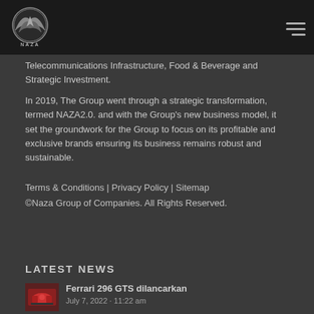NAZA logo and navigation menu
Telecommunications Infrastructure, Food & Beverage and Strategic Investment.
In 2019, The Group went through a strategic transformation, termed NAZA2.0. and with the Group’s new business model, it set the groundwork for the Group to focus on its profitable and exclusive brands ensuring its business remains robust and sustainable.
Terms & Conditions | Privacy Policy | Sitemap ©Naza Group of Companies. All Rights Reserved.
LATEST NEWS
Ferrari 296 GTS dilancarkan
July 7, 2022 · 11:22 am